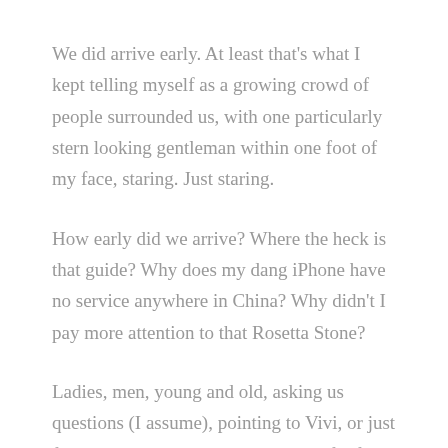We did arrive early. At least that's what I kept telling myself as a growing crowd of people surrounded us, with one particularly stern looking gentleman within one foot of my face, staring. Just staring.
How early did we arrive? Where the heck is that guide? Why does my dang iPhone have no service anywhere in China? Why didn't I pay more attention to that Rosetta Stone?
Ladies, men, young and old, asking us questions (I assume), pointing to Vivi, or just flat out staring. It was seriously painful for a couple of shy folks like